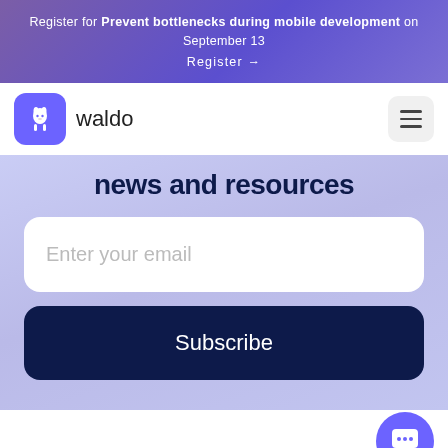Register for Prevent bottlenecks during mobile development on September 13 Register →
[Figure (logo): Waldo logo — llama icon in purple square, text 'waldo']
news and resources
Enter your email
Subscribe